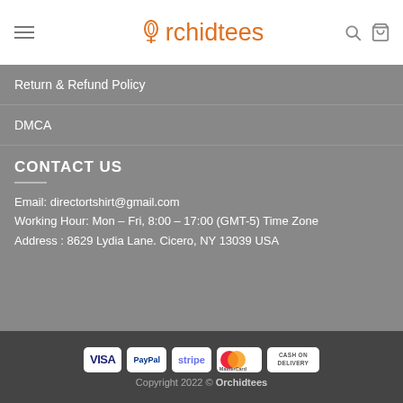Orchidtees
Return & Refund Policy
DMCA
CONTACT US
Email: directortshirt@gmail.com
Working Hour: Mon – Fri, 8:00 – 17:00 (GMT-5) Time Zone
Address : 8629 Lydia Lane. Cicero, NY 13039 USA
Copyright 2022 © Orchidtees